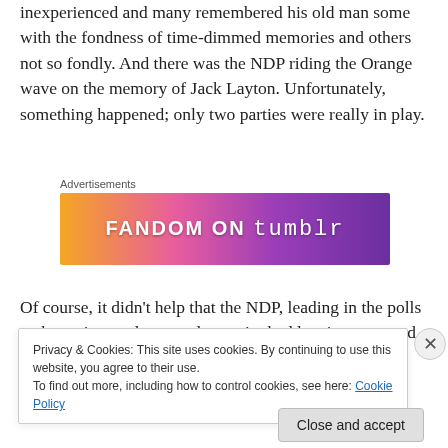inexperienced and many remembered his old man some with the fondness of time-dimmed memories and others not so fondly. And there was the NDP riding the Orange wave on the memory of Jack Layton. Unfortunately, something happened; only two parties were really in play.
Advertisements
[Figure (illustration): Fandom on Tumblr advertisement banner with colorful gradient background (orange to purple) and white text reading FANDOM ON tumblr]
Of course, it didn't help that the NDP, leading in the polls and wanting so desperately to win, had lost its nerve and
Privacy & Cookies: This site uses cookies. By continuing to use this website, you agree to their use.
To find out more, including how to control cookies, see here: Cookie Policy